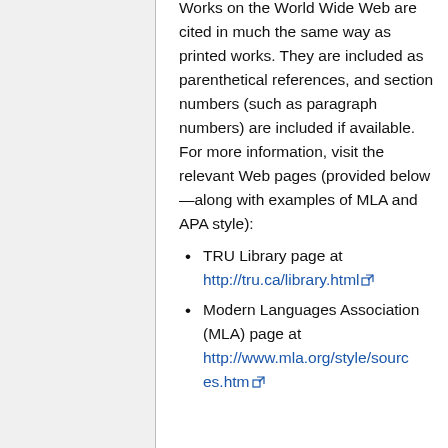Works on the World Wide Web are cited in much the same way as printed works. They are included as parenthetical references, and section numbers (such as paragraph numbers) are included if available. For more information, visit the relevant Web pages (provided below—along with examples of MLA and APA style):
TRU Library page at http://tru.ca/library.html
Modern Languages Association (MLA) page at http://www.mla.org/style/sources.htm